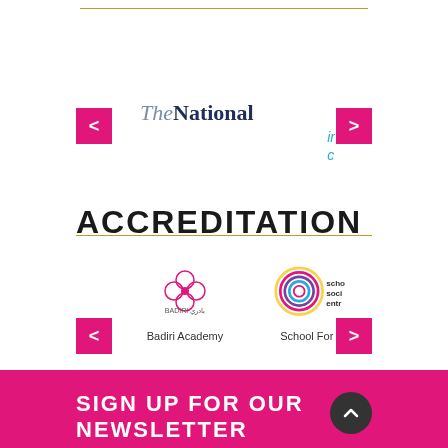[Figure (logo): The National newspaper logo]
[Figure (logo): Partial cropped text in light blue, italic]
ACCREDITATION
[Figure (logo): Badiri Academy logo - floral/cross pink ornament with Arabic text]
Badiri Academy
[Figure (logo): School For Social Entrepreneurs logo - concentric circles in multiple colors]
School For Soci
SIGN UP FOR OUR NEWSLETTER